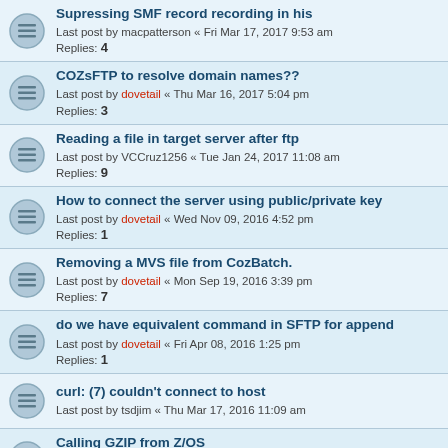Supressing SMF record recording in his
Last post by macpatterson « Fri Mar 17, 2017 9:53 am
Replies: 4
COZsFTP to resolve domain names??
Last post by dovetail « Thu Mar 16, 2017 5:04 pm
Replies: 3
Reading a file in target server after ftp
Last post by VCCruz1256 « Tue Jan 24, 2017 11:08 am
Replies: 9
How to connect the server using public/private key
Last post by dovetail « Wed Nov 09, 2016 4:52 pm
Replies: 1
Removing a MVS file from CozBatch.
Last post by dovetail « Mon Sep 19, 2016 3:39 pm
Replies: 7
do we have equivalent command in SFTP for append
Last post by dovetail « Fri Apr 08, 2016 1:25 pm
Replies: 1
curl: (7) couldn't connect to host
Last post by tsdjim « Thu Mar 17, 2016 11:09 am
Calling GZIP from Z/OS
Last post by dovetail « Fri Jan 29, 2016 6:59 pm
Replies: 1
COZBATCH requirements
Last post by dovetail « Tue Oct 27, 2015 4:27 pm
Replies: 3
/C1ER10: FSUM9209 cannot execute:
Last post by dovetail « Mon Oct 12, 2015 9:00 am